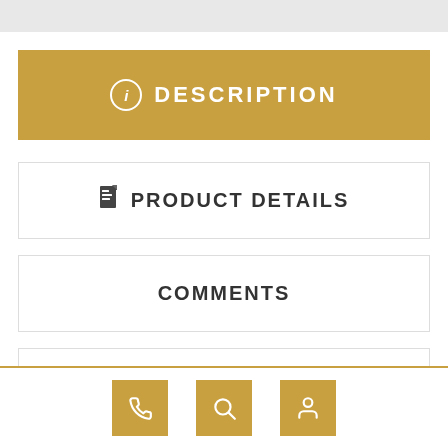[Figure (screenshot): Top grey bar partial UI element]
DESCRIPTION
PRODUCT DETAILS
COMMENTS
George 5 Stars is part of the HAIRforMEMce by Ellen Wille, this elegant classic style really does have a Five